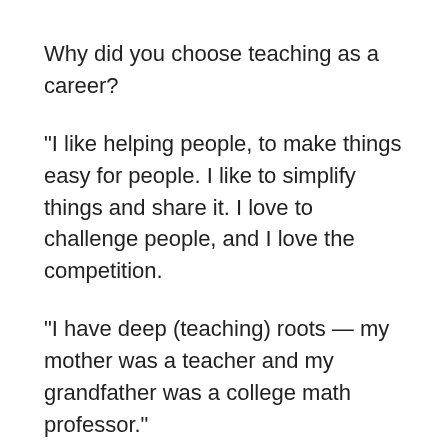Why did you choose teaching as a career?
“I like helping people, to make things easy for people. I like to simplify things and share it. I love to challenge people, and I love the competition.
“I have deep (teaching) roots — my mother was a teacher and my grandfather was a college math professor.”
What brings you the most joy in teaching?
“Challenging students and creating a vigorous engaging classroom. Just about every student I